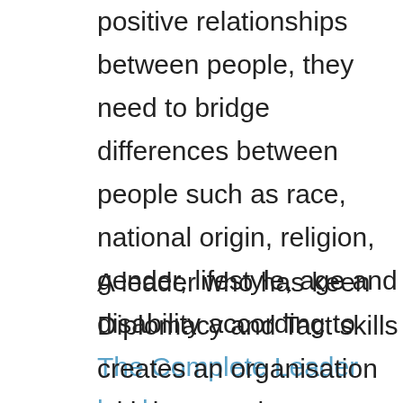positive relationships between people, they need to bridge differences between people such as race, national origin, religion, gender, lifestyle, age and disability according to The Complete Leader book.
A leader who has keen Diplomacy and Tact skills creates an organisation with improved relationships that lead to Teams that trust each other and